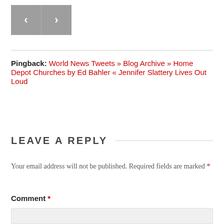[Figure (other): Navigation buttons: left arrow and right arrow on grey background]
Pingback: World News Tweets » Blog Archive » Home Depot Churches by Ed Bahler « Jennifer Slattery Lives Out Loud
LEAVE A REPLY
Your email address will not be published. Required fields are marked *
Comment *